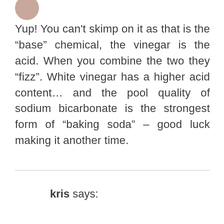[Figure (photo): Partial avatar/profile photo circle cropped at top of page]
Yup! You can’t skimp on it as that is the “base” chemical, the vinegar is the acid. When you combine the two they “fizz”. White vinegar has a higher acid content… and the pool quality of sodium bicarbonate is the strongest form of “baking soda” – good luck making it another time.
kris says: